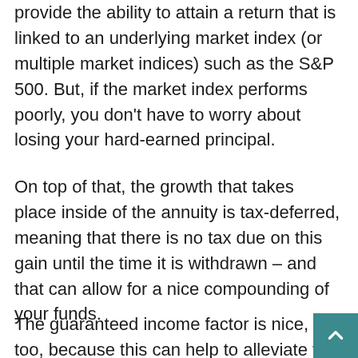provide the ability to attain a return that is linked to an underlying market index (or multiple market indices) such as the S&P 500. But, if the market index performs poorly, you don't have to worry about losing your hard-earned principal.
On top of that, the growth that takes place inside of the annuity is tax-deferred, meaning that there is no tax due on this gain until the time it is withdrawn – and that can allow for a nice compounding of your funds.
The guaranteed income factor is nice, too, because this can help to alleviate the concern about running out of money